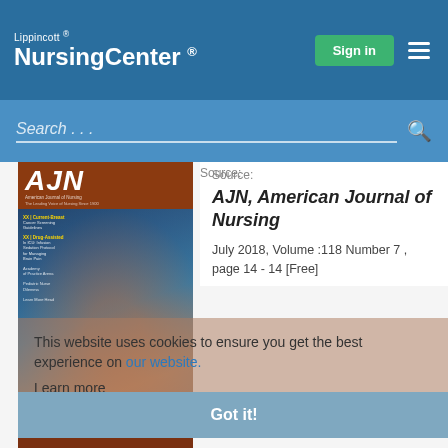Lippincott® NursingCenter®
[Figure (screenshot): AJN American Journal of Nursing magazine cover with blue background and biological imagery]
Source:
AJN, American Journal of Nursing
July 2018, Volume :118 Number 7 , page 14 - 14 [Free]
This website uses cookies to ensure you get the best experience on our website.
Learn more
Got it!
Authors